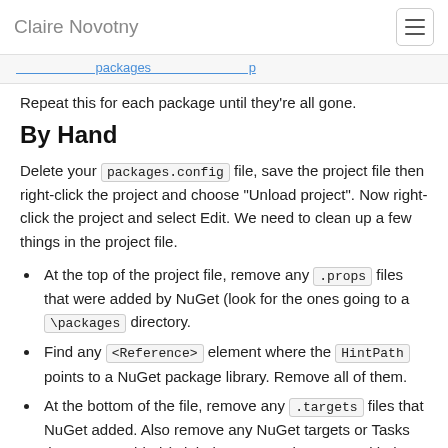Claire Novotny
Repeat this for each package until they're all gone.
By Hand
Delete your packages.config file, save the project file then right-click the project and choose “Unload project”. Now right-click the project and select Edit. We need to clean up a few things in the project file.
At the top of the project file, remove any .props files that were added by NuGet (look for the ones going to a \packages directory.
Find any <Reference> element where the HintPath points to a NuGet package library. Remove all of them.
At the bottom of the file, remove any .targets files that NuGet added. Also remove any NuGet targets or Tasks that NuGet added (might be a target that starts with the following